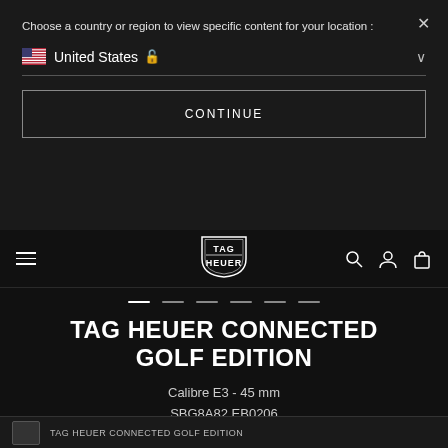Choose a country or region to view specific content for your location :
United States
CONTINUE
[Figure (logo): TAG Heuer shield logo in white on dark background]
TAG HEUER CONNECTED GOLF EDITION
Calibre E3 - 45 mm
SBG8A82.EB0206
R 32,600.00
TAG HEUER CONNECTED GOLF EDITION